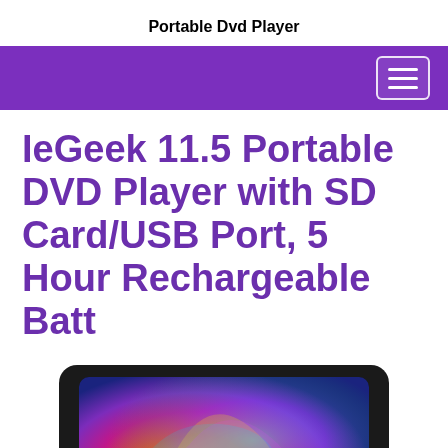Portable Dvd Player
IeGeek 11.5 Portable DVD Player with SD Card/USB Port, 5 Hour Rechargeable Batt
[Figure (photo): Photo of a portable DVD player showing a colorful swirling abstract wallpaper on its screen, device has a black bezel/case]